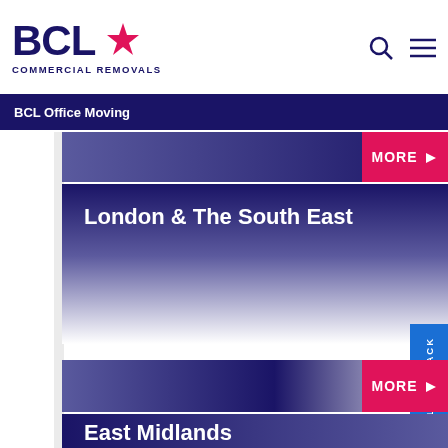[Figure (logo): BCL Commercial Removals logo with star icon in pink]
BCL Office Moving
MORE
London & The South East
CALL ME BACK
MORE
East Midlands